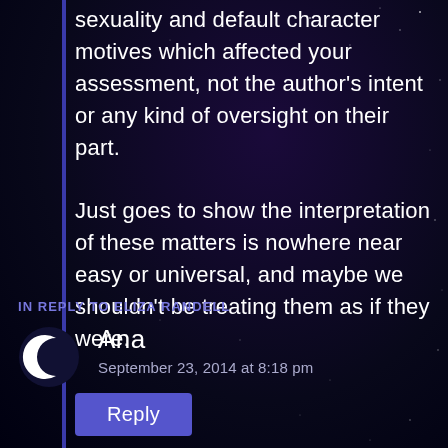sexuality and default character motives which affected your assessment, not the author's intent or any kind of oversight on their part.
Just goes to show the interpretation of these matters is nowhere near easy or universal, and maybe we shouldn't be treating them as if they were.
Reply
IN REPLY TO ELIZA RANDELL
Ana
September 23, 2014 at 8:18 pm